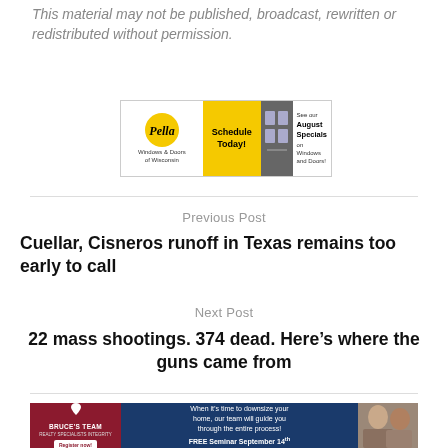This material may not be published, broadcast, rewritten or redistributed without permission.
[Figure (advertisement): Pella Windows & Doors of Wisconsin ad banner with yellow 'Schedule Today!' call to action and 'See our August Specials on Windows and Doors!']
Previous Post
Cuellar, Cisneros runoff in Texas remains too early to call
Next Post
22 mass shootings. 374 dead. Here’s where the guns came from
[Figure (advertisement): Bruce's Team real estate advertisement with red left panel, blue middle panel reading 'When it’s time to downsize your home, our team will guide you through the entire process! FREE Seminar September 14th', and a photo of two women on the right.]